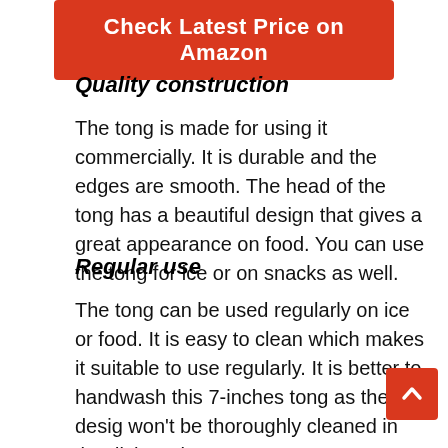[Figure (other): Red button with white text reading 'Check Latest Price on Amazon']
Quality construction
The tong is made for using it commercially. It is durable and the edges are smooth. The head of the tong has a beautiful design that gives a great appearance on food. You can use the tong for ice or on snacks as well.
Regular use
The tong can be used regularly on ice or food. It is easy to clean which makes it suitable to use regularly. It is better to handwash this 7-inches tong as the design won't be thoroughly cleaned in the dishwasher.